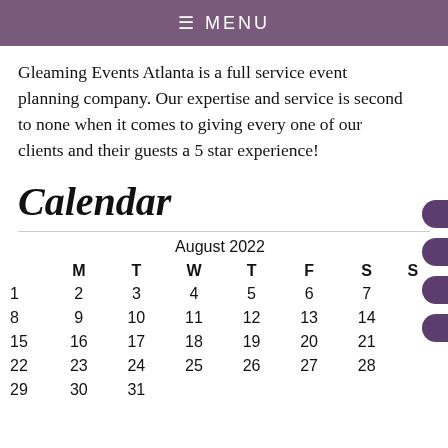≡ MENU
Gleaming Events Atlanta is a full service event planning company. Our expertise and service is second to none when it comes to giving every one of our clients and their guests a 5 star experience!
Calendar
|  | M | T | W | T | F | S | S |
| --- | --- | --- | --- | --- | --- | --- | --- |
|  | 1 | 2 | 3 | 4 | 5 | 6 | 7 |
|  | 8 | 9 | 10 | 11 | 12 | 13 | 14 |
|  | 15 | 16 | 17 | 18 | 19 | 20 | 21 |
|  | 22 | 23 | 24 | 25 | 26 | 27 | 28 |
|  | 29 | 30 | 31 |  |  |  |  |